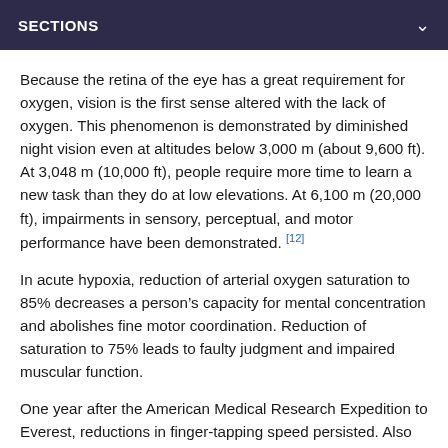SECTIONS
Because the retina of the eye has a great requirement for oxygen, vision is the first sense altered with the lack of oxygen. This phenomenon is demonstrated by diminished night vision even at altitudes below 3,000 m (about 9,600 ft). At 3,048 m (10,000 ft), people require more time to learn a new task than they do at low elevations. At 6,100 m (20,000 ft), impairments in sensory, perceptual, and motor performance have been demonstrated. [12]
In acute hypoxia, reduction of arterial oxygen saturation to 85% decreases a person’s capacity for mental concentration and abolishes fine motor coordination. Reduction of saturation to 75% leads to faulty judgment and impaired muscular function.
One year after the American Medical Research Expedition to Everest, reductions in finger-tapping speed persisted. Also observed were declines in visual long-